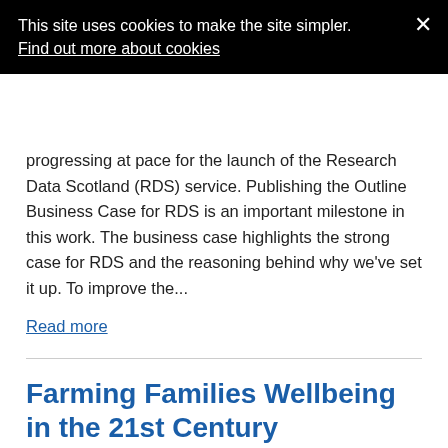This site uses cookies to make the site simpler. Find out more about cookies
progressing at pace for the launch of the Research Data Scotland (RDS) service. Publishing the Outline Business Case for RDS is an important milestone in this work. The business case highlights the strong case for RDS and the reasoning behind why we've set it up. To improve the...
Read more
Farming Families Wellbeing in the 21st Century
14th July 2021 by Ally McAlpine